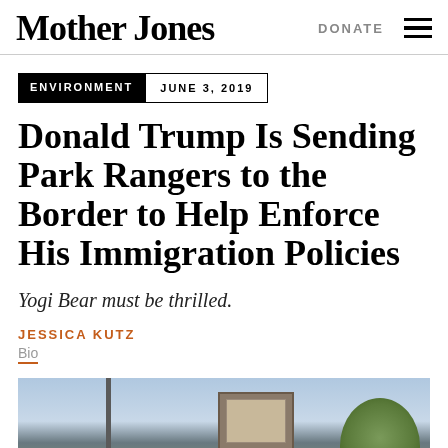Mother Jones | DONATE
ENVIRONMENT  JUNE 3, 2019
Donald Trump Is Sending Park Rangers to the Border to Help Enforce His Immigration Policies
Yogi Bear must be thrilled.
JESSICA KUTZ
Bio
[Figure (photo): Outdoor scene with a park sign on a post, cloudy sky, and trees in the background]